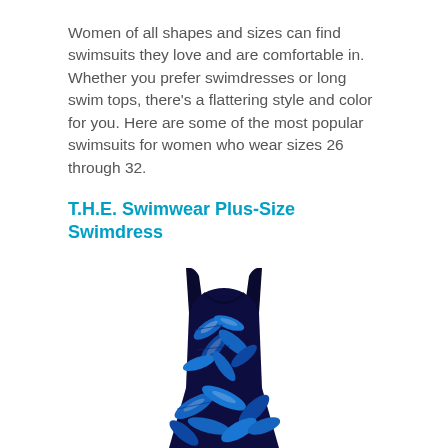Women of all shapes and sizes can find swimsuits they love and are comfortable in. Whether you prefer swimdresses or long swim tops, there's a flattering style and color for you. Here are some of the most popular swimsuits for women who wear sizes 26 through 32.
T.H.E. Swimwear Plus-Size Swimdress
[Figure (photo): A blue and black tropical floral print plus-size swimdress displayed against a white background, showing a sleeveless tank-style dress with a flared skirt.]